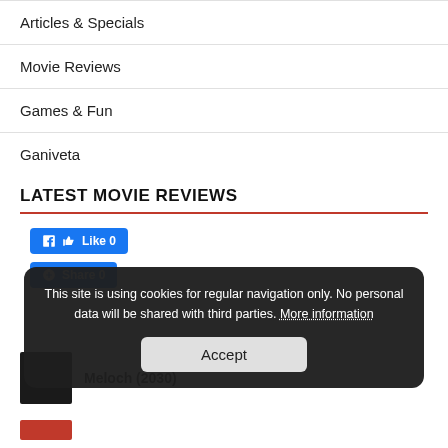Articles & Specials
Movie Reviews
Games & Fun
Ganiveta
LATEST MOVIE REVIEWS
[Figure (screenshot): Facebook Like button showing count 0]
[Figure (screenshot): Facebook Share button showing count 0]
This site is using cookies for regular navigation only. No personal data will be shared with third parties. More information
Accept
Meloch (2030)